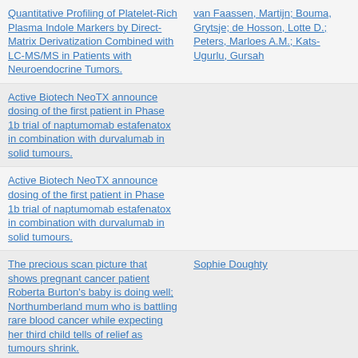| Title | Authors |
| --- | --- |
| Quantitative Profiling of Platelet-Rich Plasma Indole Markers by Direct-Matrix Derivatization Combined with LC-MS/MS in Patients with Neuroendocrine Tumors. | van Faassen, Martijn; Bouma, Grytsje; de Hosson, Lotte D.; Peters, Marloes A.M.; Kats-Ugurlu, Gursah |
| Active Biotech NeoTX announce dosing of the first patient in Phase 1b trial of naptumomab estafenatox in combination with durvalumab in solid tumours. |  |
| Active Biotech NeoTX announce dosing of the first patient in Phase 1b trial of naptumomab estafenatox in combination with durvalumab in solid tumours. |  |
| The precious scan picture that shows pregnant cancer patient Roberta Burton's baby is doing well; Northumberland mum who is battling rare blood cancer while expecting her third child tells of relief as tumours shrink. | Sophie Doughty |
| Merck & Company, Inc. (NYSE:MRK) - Merck's KEYTRUDA[R] (pembrolizumab) Now Approved as Monotherapy |  |